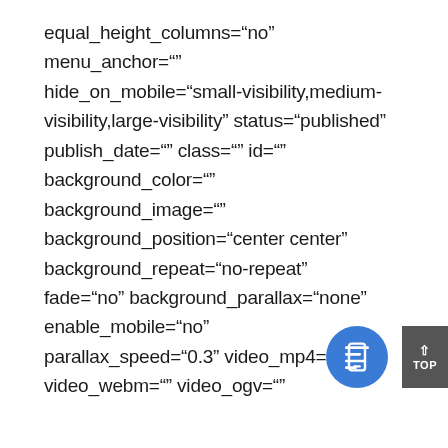equal_height_columns="no" menu_anchor="" hide_on_mobile="small-visibility,medium-visibility,large-visibility" status="published" publish_date="" class="" id="" background_color="" background_image="" background_position="center center" background_repeat="no-repeat" fade="no" background_parallax="none" enable_mobile="no" parallax_speed="0.3" video_mp4="" video_webm="" video_ogv=""